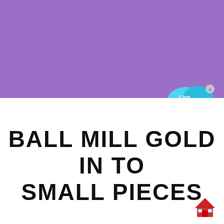[Figure (illustration): Solid purple/violet rectangular banner filling the top portion of the page]
[Figure (illustration): Live Chat speech bubble widget in cyan/blue color with 'Live Chat' text and an x close button, positioned at top right near the boundary of the purple and white sections]
BALL MILL GOLD IN TO SMALL PIECES
[Figure (illustration): Small red house/building emoji icon in the bottom right corner]